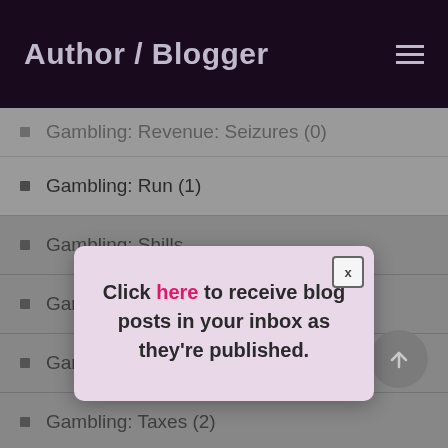Author / Blogger
Gambling: Revenue: Seizures (0)
Gambling: Run (1)
Gambling: Shills
Gambling: Spre...
Gambling: Symb...
Gambling: Taxes (2)
Gambling: Tips (1)
Gambling: Topless (1)
[Figure (screenshot): Modal popup with text: Click here to receive blog posts in your inbox as they're published. Has an X close button in top-right corner.]